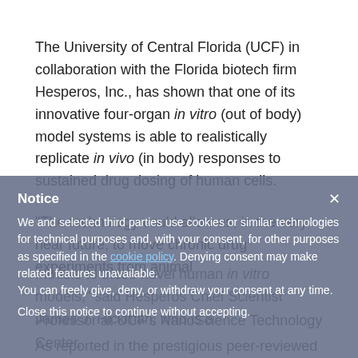The University of Central Florida (UCF) in collaboration with the Florida biotech firm Hesperos, Inc., has shown that one of its innovative four-organ in vitro (out of body) model systems is able to realistically replicate in vivo (in body) responses to sustained drug dosing of human cells.
“The technology could allow us, in the very near future, to move chronic drug experiments from animal models to these novel human in vitro models,” said Hesperos Chief Scientist James J. Hickman, who is a Professor at UCF’s NanoScience Technology Center.
As reported in the prestigious peer-reviewed scientific journal Advanced Functional Materials, the microfluidic device with interlinking modules containing human derived heart, liver, skeletal muscle
Notice
We and selected third parties use cookies or similar technologies for technical purposes and, with your consent, for other purposes as specified in the cookie policy. Denying consent may make related features unavailable.
You can freely give, deny, or withdraw your consent at any time.
Close this notice to continue without accepting.